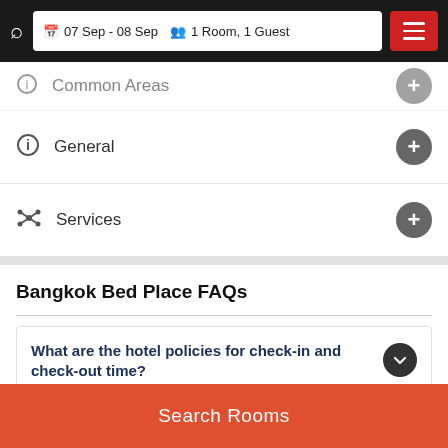07 Sep - 08 Sep  1 Room, 1 Guest
Common Areas
General
Services
Bangkok Bed Place FAQs
What are the hotel policies for check-in and check-out time?
What are some popular tourists attractions nearby bangkok bed place - Bangkok?
Search Rooms